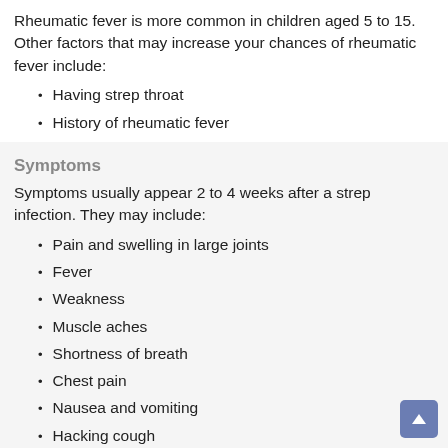Rheumatic fever is more common in children aged 5 to 15. Other factors that may increase your chances of rheumatic fever include:
Having strep throat
History of rheumatic fever
Symptoms
Symptoms usually appear 2 to 4 weeks after a strep infection. They may include:
Pain and swelling in large joints
Fever
Weakness
Muscle aches
Shortness of breath
Chest pain
Nausea and vomiting
Hacking cough
Circular rash
Lumps under the skin
Abnormal, sudden movements of arms and legs